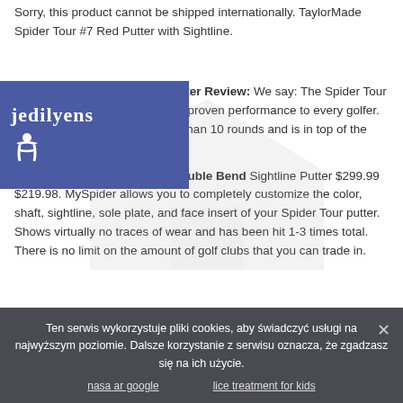Sorry, this product cannot be shipped internationally. TaylorMade Spider Tour #7 Red Putter with Sightline.
[Figure (logo): Blue overlay badge with decorative text and accessibility icon, top-left corner]
Spider Tour Red Sightline Putter Review: We say: The Spider Tour Red with Sightline delivers Tour-proven performance to every golfer. Golf club has been played less than 10 rounds and is in top of the line used condition.
TaylorMade Spider Tour Red Double Bend Sightline Putter $299.99 $219.98. MySpider allows you to completely customize the color, shaft, sightline, sole plate, and face insert of your Spider Tour putter. Shows virtually no traces of wear and has been hit 1-3 times total. There is no limit on the amount of golf clubs that you can trade in.
Ten serwis wykorzystuje pliki cookies, aby świadczyć usługi na najwyższym poziomie. Dalsze korzystanie z serwisu oznacza, że zgadzasz się na ich użycie.
nasa ar google
lice treatment for kids